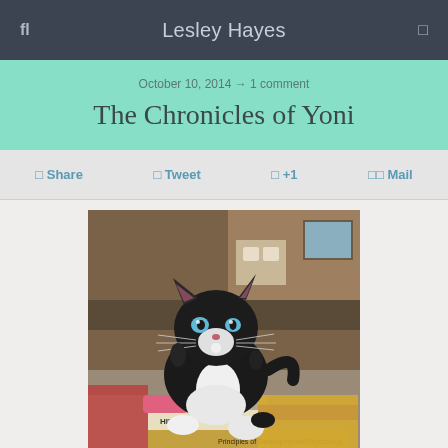fl   Lesley Hayes   □
October 10, 2014 → 1 comment
The Chronicles of Yoni
□ Share   □ Tweet   □ +1   □□ Mail
[Figure (photo): A small black and white kitten with blue eyes sitting on top of a stack of books including 'HINDI', 'SOCIAL DEVELOPMENT', and 'Principles of Developmental Psychology'. The background shows wooden furniture and shelves.]